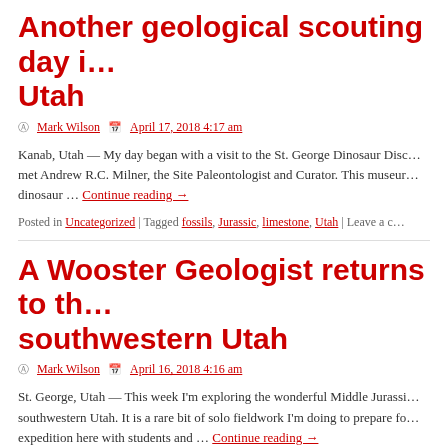Another geological scouting day in Utah
By Mark Wilson  April 17, 2018 4:17 am
Kanab, Utah — My day began with a visit to the St. George Dinosaur Disc… met Andrew R.C. Milner, the Site Paleontologist and Curator. This museur… dinosaur … Continue reading →
Posted in Uncategorized | Tagged fossils, Jurassic, limestone, Utah | Leave a c…
A Wooster Geologist returns to the southwestern Utah
By Mark Wilson  April 16, 2018 4:16 am
St. George, Utah — This week I'm exploring the wonderful Middle Jurassi… southwestern Utah. It is a rare bit of solo fieldwork I'm doing to prepare fo… expedition here with students and … Continue reading →
Posted in Uncategorized | Tagged fossils, Jurassic, Utah | Leave a comment